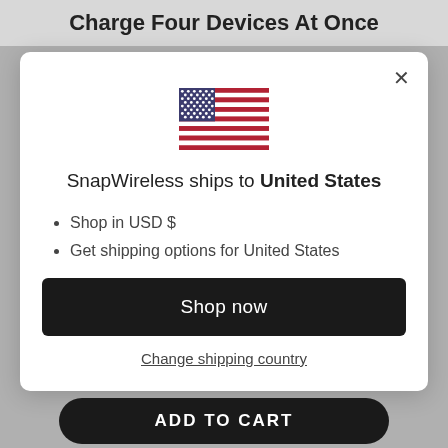Charge Four Devices At Once
[Figure (illustration): US flag emoji/icon centered in modal]
SnapWireless ships to United States
Shop in USD $
Get shipping options for United States
Shop now
Change shipping country
ADD TO CART